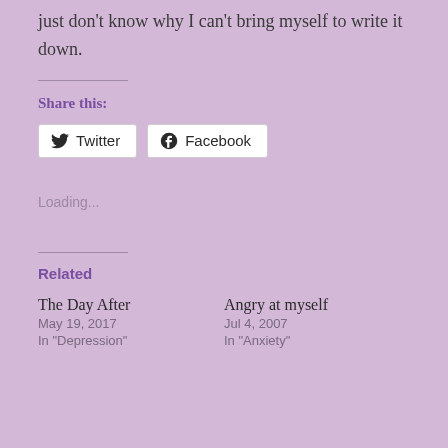just don't know why I can't bring myself to write it down.
Share this:
[Figure (other): Twitter and Facebook share buttons]
Loading...
Related
The Day After
May 19, 2017
In "Depression"
Angry at myself
Jul 4, 2007
In "Anxiety"